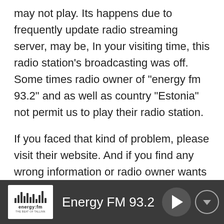may not play. Its happens due to frequently update radio streaming server, may be, In your visiting time, this radio station's broadcasting was off. Some times radio owner of "energy fm 93.2" and as well as country "Estonia" not permit us to play their radio station.
If you faced that kind of problem, please visit their website. And if you find any wrong information or radio owner wants to remove their radio information, please let us know. If you have any suggestion, please contact us, and if you find any error, please let us know, we will fix as soon as possible.
[Figure (logo): Energy FM logo and player bar at the bottom with play button and menu button. Dark grey background with white Energy FM 93.2 text.]